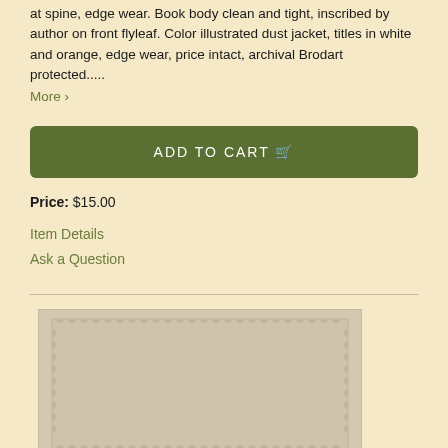at spine, edge wear. Book body clean and tight, inscribed by author on front flyleaf. Color illustrated dust jacket, titles in white and orange, edge wear, price intact, archival Brodart protected.....
More >
ADD TO CART 🛒
Price: $15.00
Item Details
Ask a Question
[Figure (illustration): Decorative bordered book cover image placeholder with ornamental frame pattern on beige/tan background]